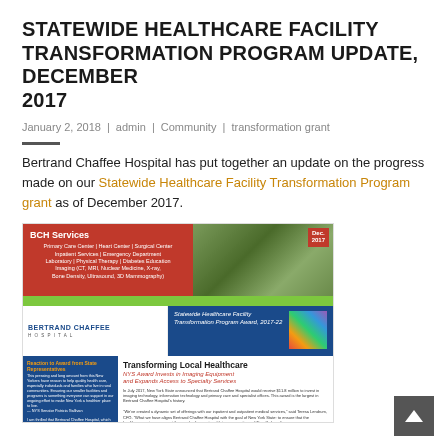STATEWIDE HEALTHCARE FACILITY TRANSFORMATION PROGRAM UPDATE, DECEMBER 2017
January 2, 2018 | admin | Community | transformation grant
Bertrand Chaffee Hospital has put together an update on the progress made on our Statewide Healthcare Facility Transformation Program grant as of December 2017.
[Figure (screenshot): Newsletter image showing BCH Services with red header listing Primary Care Center, Heart Center, Surgical Center, Inpatient Services, Emergency Department, Laboratory, Physical Therapy, Diabetes Education, Imaging (CT, MRI, Nuclear Medicine, X-ray, Bone Density, Ultrasound, 3D Mammography). Includes Bertrand Chaffee Hospital logo, Statewide Healthcare Facility Transformation Program Award 2017-22 award box, and a section on Transforming Local Healthcare with article text.]